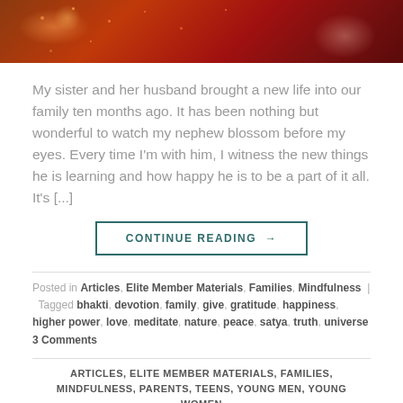[Figure (photo): Dark red/orange banner image with bokeh light effects and sparkles]
My sister and her husband brought a new life into our family ten months ago. It has been nothing but wonderful to watch my nephew blossom before my eyes. Every time I'm with him, I witness the new things he is learning and how happy he is to be a part of it all. It's [...]
CONTINUE READING →
Posted in Articles, Elite Member Materials, Families, Mindfulness | Tagged bhakti, devotion, family, give, gratitude, happiness, higher power, love, meditate, nature, peace, satya, truth, universe 3 Comments
ARTICLES, ELITE MEMBER MATERIALS, FAMILIES, MINDFULNESS, PARENTS, TEENS, YOUNG MEN, YOUNG WOMEN